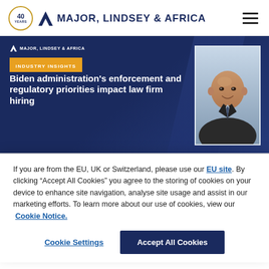[Figure (logo): Major, Lindsey & Africa logo with 40th anniversary badge and navigation hamburger menu]
[Figure (illustration): Dark navy banner with Industry Insights label, headline 'Biden administration's enforcement and regulatory priorities impact law firm hiring', and headshot of a bald man in a suit]
If you are from the EU, UK or Switzerland, please use our EU site. By clicking “Accept All Cookies” you agree to the storing of cookies on your device to enhance site navigation, analyse site usage and assist in our marketing efforts. To learn more about our use of cookies, view our Cookie Notice.
Cookie Settings
Accept All Cookies